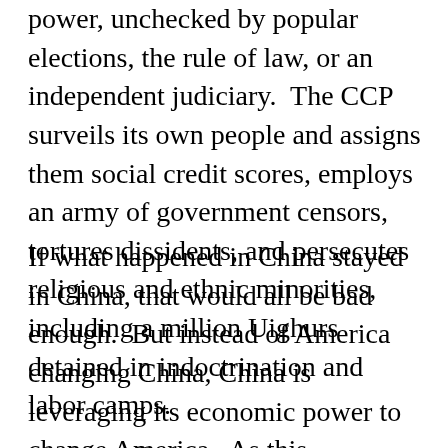power, unchecked by popular elections, the rule of law, or an independent judiciary. The CCP surveils its own people and assigns them social credit scores, employs an army of government censors, tortures dissidents, and persecutes religious and ethnic minorities, including a million Uighurs detained in indoctrination and labor camps.
If what happened in China stayed in China, that would all be bad enough. But instead of America changing China, China is leveraging its economic power to change America. As this Administration's China Strategy recognizes, “the CCP’s campaign to compel ideological conformity does not stop at China’s borders.”[13] Rather, the CCP seeks to extend